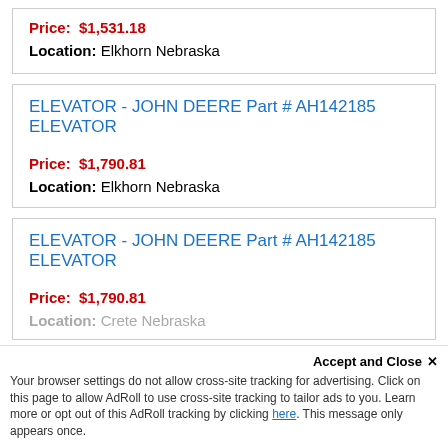Price: $1,531.18
Location: Elkhorn Nebraska
ELEVATOR - JOHN DEERE Part # AH142185 ELEVATOR
Price: $1,790.81
Location: Elkhorn Nebraska
ELEVATOR - JOHN DEERE Part # AH142185 ELEVATOR
Price: $1,790.81
Location: Crete Nebraska
Accept and Close ×
Your browser settings do not allow cross-site tracking for advertising. Click on this page to allow AdRoll to use cross-site tracking to tailor ads to you. Learn more or opt out of this AdRoll tracking by clicking here. This message only appears once.